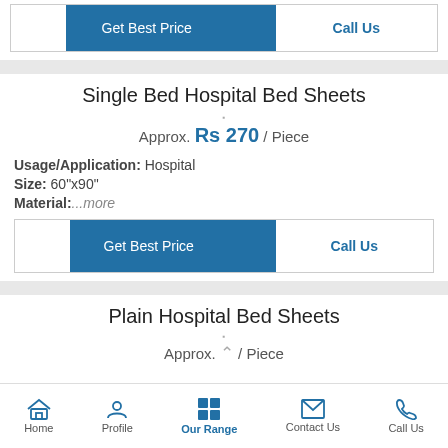[Figure (screenshot): Top button row with Get Best Price and Call Us buttons]
Single Bed Hospital Bed Sheets
Approx. Rs 270 / Piece
Usage/Application: Hospital
Size: 60"x90"
Material: ...more
[Figure (screenshot): Get Best Price and Call Us button row]
Plain Hospital Bed Sheets
Approx. / Piece
Home  Profile  Our Range  Contact Us  Call Us